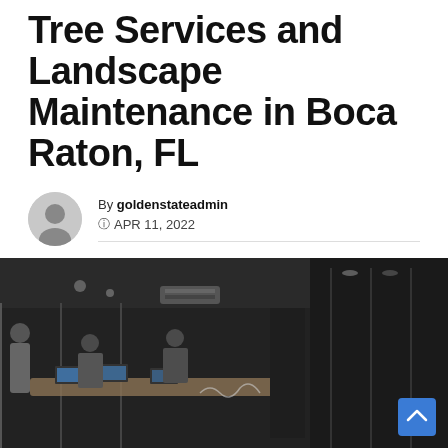Tree Services and Landscape Maintenance in Boca Raton, FL
By goldenstateadmin
© APR 11, 2022
[Figure (photo): Office meeting scene with people working on laptops around a table, behind glass walls, dark hallway visible on right side]